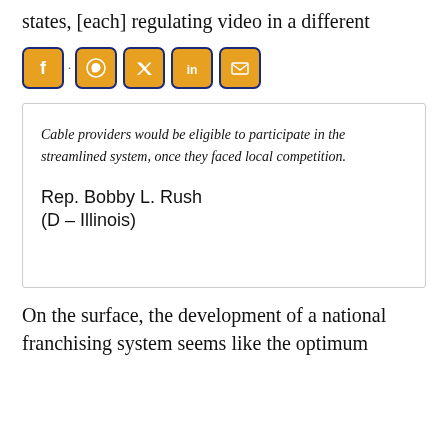states, [each] regulating video in a different
[Figure (other): Row of five social media share icons: Facebook, WhatsApp, Twitter, LinkedIn, Email — each as a golden square with dark blue border and white icon]
Cable providers would be eligible to participate in the streamlined system, once they faced local competition.

Rep. Bobby L. Rush
(D – Illinois)
On the surface, the development of a national franchising system seems like the optimum